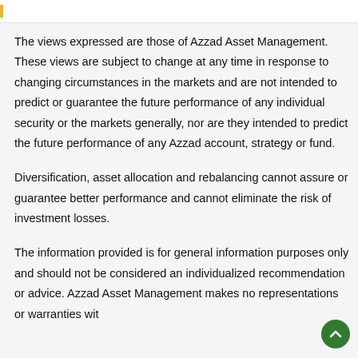The views expressed are those of Azzad Asset Management. These views are subject to change at any time in response to changing circumstances in the markets and are not intended to predict or guarantee the future performance of any individual security or the markets generally, nor are they intended to predict the future performance of any Azzad account, strategy or fund.
Diversification, asset allocation and rebalancing cannot assure or guarantee better performance and cannot eliminate the risk of investment losses.
The information provided is for general information purposes only and should not be considered an individualized recommendation or advice. Azzad Asset Management makes no representations or warranties wit